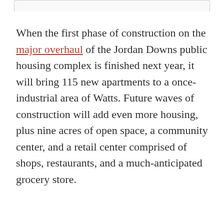When the first phase of construction on the major overhaul of the Jordan Downs public housing complex is finished next year, it will bring 115 new apartments to a once-industrial area of Watts. Future waves of construction will add even more housing, plus nine acres of open space, a community center, and a retail center comprised of shops, restaurants, and a much-anticipated grocery store.